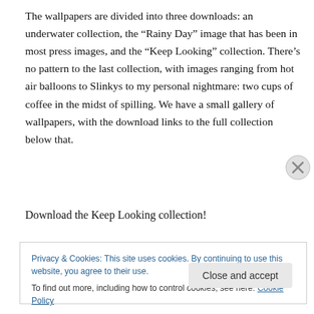The wallpapers are divided into three downloads: an underwater collection, the “Rainy Day” image that has been in most press images, and the “Keep Looking” collection. There’s no pattern to the last collection, with images ranging from hot air balloons to Slinkys to my personal nightmare: two cups of coffee in the midst of spilling. We have a small gallery of wallpapers, with the download links to the full collection below that.
Download the Keep Looking collection!
Privacy & Cookies: This site uses cookies. By continuing to use this website, you agree to their use.
To find out more, including how to control cookies, see here: Cookie Policy